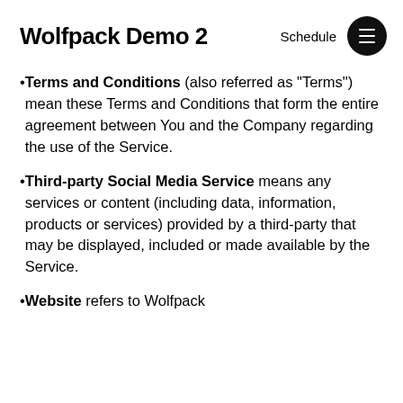Wolfpack Demo 2
Terms and Conditions (also referred as “Terms”) mean these Terms and Conditions that form the entire agreement between You and the Company regarding the use of the Service.
Third-party Social Media Service means any services or content (including data, information, products or services) provided by a third-party that may be displayed, included or made available by the Service.
Website refers to Wolfpack Advisor, accessible from